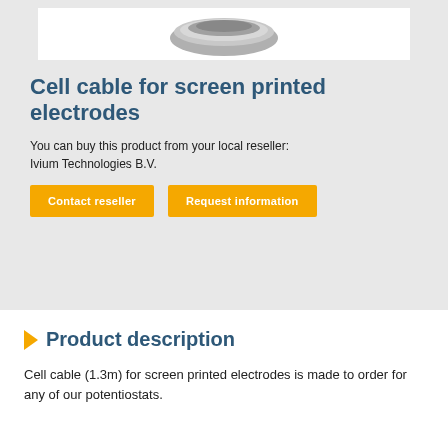[Figure (photo): Partial view of a cell cable product image against a white background, showing part of a connector or electrode component]
Cell cable for screen printed electrodes
You can buy this product from your local reseller:
Ivium Technologies B.V.
Contact reseller
Request information
Product description
Cell cable (1.3m) for screen printed electrodes is made to order for any of our potentiostats.